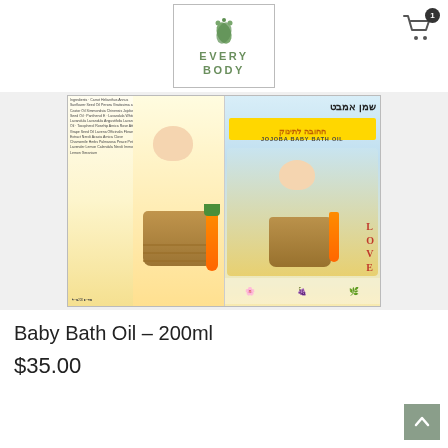EVERY BODY (logo with cart icon showing 1 item)
[Figure (photo): Product photo showing two views of Jojoba Baby Bath Oil 200ml bottle label — left side shows ingredients text in English, right side shows Hebrew text 'שמן אמבט חחובה לתינוק' and 'JOJOBA BABY BATH OIL' with a sleeping newborn in a wicker basket with a carrot decoration and LOVE text block]
Baby Bath Oil – 200ml
$35.00